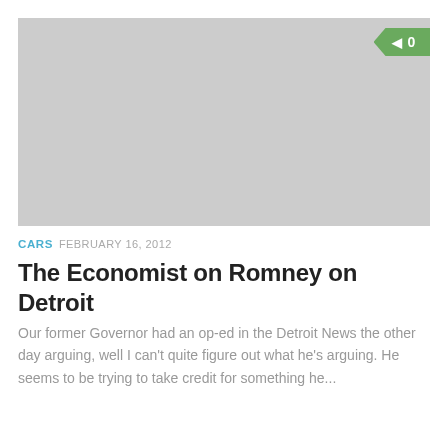[Figure (photo): Gray placeholder image area with a green badge showing '0' in the top-right corner]
CARS FEBRUARY 16, 2012
The Economist on Romney on Detroit
Our former Governor had an op-ed in the Detroit News the other day arguing, well I can’t quite figure out what he’s arguing. He seems to be trying to take credit for something he...